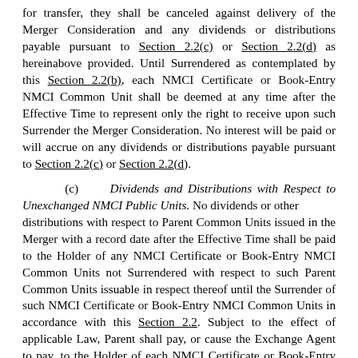for transfer, they shall be canceled against delivery of the Merger Consideration and any dividends or distributions payable pursuant to Section 2.2(c) or Section 2.2(d) as hereinabove provided. Until Surrendered as contemplated by this Section 2.2(b), each NMCI Certificate or Book-Entry NMCI Common Unit shall be deemed at any time after the Effective Time to represent only the right to receive upon such Surrender the Merger Consideration. No interest will be paid or will accrue on any dividends or distributions payable pursuant to Section 2.2(c) or Section 2.2(d).
(c) Dividends and Distributions with Respect to Unexchanged NMCI Public Units. No dividends or other distributions with respect to Parent Common Units issued in the Merger with a record date after the Effective Time shall be paid to the Holder of any NMCI Certificate or Book-Entry NMCI Common Units not Surrendered with respect to such Parent Common Units issuable in respect thereof until the Surrender of such NMCI Certificate or Book-Entry NMCI Common Units in accordance with this Section 2.2. Subject to the effect of applicable Law, Parent shall pay, or cause the Exchange Agent to pay, to the Holder of each NMCI Certificate or Book-Entry NMCI Common Units, without interest, (i) at the time of Surrender of such NMCI Certificate or Book-Entry NMCI Common Units, the amount of dividends or other distributions previously paid with respect to the whole Parent Common Units issuable with respect to such NMCI